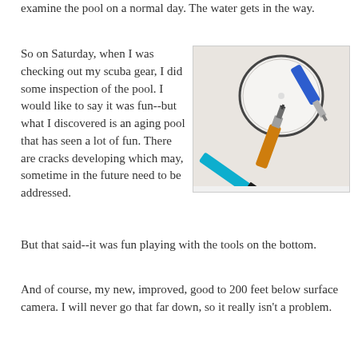examine the pool on a normal day. The water gets in the way.
So on Saturday, when I was checking out my scuba gear, I did some inspection of the pool. I would like to say it was fun--but what I discovered is an aging pool that has seen a lot of fun. There are cracks developing which may, sometime in the future need to be addressed.
[Figure (photo): Photo of pool cleaning tools on the pool bottom: a blue-handled screwdriver, a brush with cyan/blue handle and black bristles, and a Phillips screwdriver with orange handle, all resting on the white pool surface.]
But that said--it was fun playing with the tools on the bottom.
And of course, my new, improved, good to 200 feet below surface camera. I will never go that far down, so it really isn't a problem.